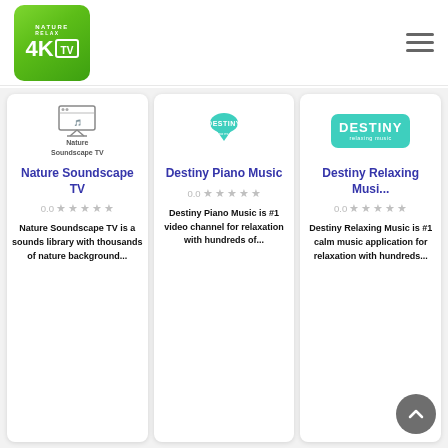[Figure (logo): 4K Nature Relax TV logo — green gradient square with 4K TV text]
[Figure (illustration): Hamburger menu icon (three horizontal lines)]
[Figure (logo): Nature Soundscape TV channel logo with icon]
Nature Soundscape TV
0.0
Nature Soundscape TV is a sounds library with thousands of nature background...
[Figure (logo): Destiny Piano Music logo — teal teardrop shape with DESTINY piano music text]
Destiny Piano Music
0.0
Destiny Piano Music is #1 video channel for relaxation with hundreds of...
[Figure (logo): Destiny Relaxing Music logo — teal/turquoise rectangle with DESTINY relaxing music text]
Destiny Relaxing Musi...
0.0
Destiny Relaxing Music is #1 calm music application for relaxation with hundreds...